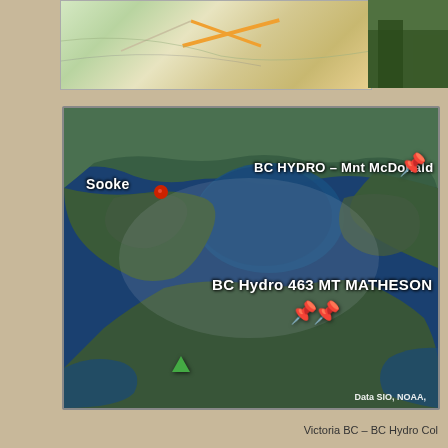[Figure (map): Satellite/aerial map view showing the area around Sooke and Victoria, BC, Canada. Shows two BC Hydro locations marked with yellow pins: 'BC HYDRO – Mnt McDonald' in the upper right area, and 'BC Hydro 463 MT MATHESON' in the center. Sooke is labeled with a red circle marker on the left. A green triangle icon is visible in the lower left portion of the map. The map shows forested land (dark green), water bodies, and coastline. Data attribution 'Data SIO, NOAA' is visible in the lower right corner.]
Victoria BC – BC Hydro Col